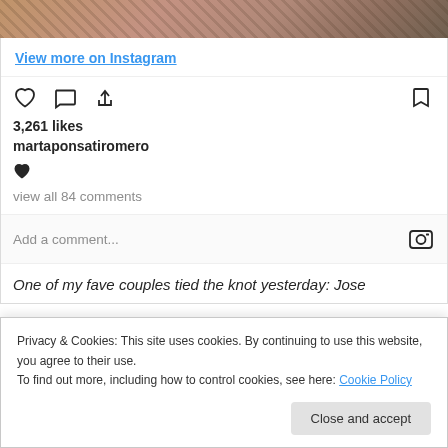[Figure (photo): Top strip of an Instagram photo showing a baby or person, cropped]
View more on Instagram
[Figure (other): Instagram action icons: heart, comment, share, bookmark]
3,261 likes
martaponsatiromero
[Figure (other): Filled black heart emoji]
view all 84 comments
Add a comment...
One of my fave couples tied the knot yesterday: Jose
Privacy & Cookies: This site uses cookies. By continuing to use this website, you agree to their use.
To find out more, including how to control cookies, see here: Cookie Policy
Close and accept